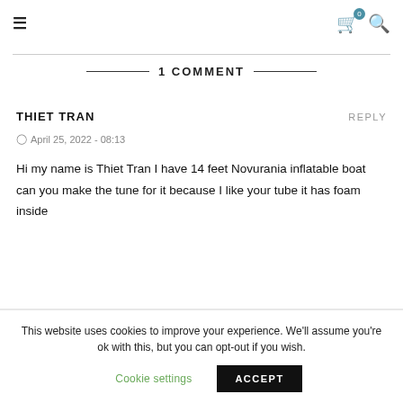≡  🛒 0  🔍
1 COMMENT
THIET TRAN
REPLY
April 25, 2022 - 08:13
Hi my name is Thiet Tran I have 14 feet Novurania inflatable boat can you make the tune for it because I like your tube it has foam inside
This website uses cookies to improve your experience. We'll assume you're ok with this, but you can opt-out if you wish.
Cookie settings  ACCEPT